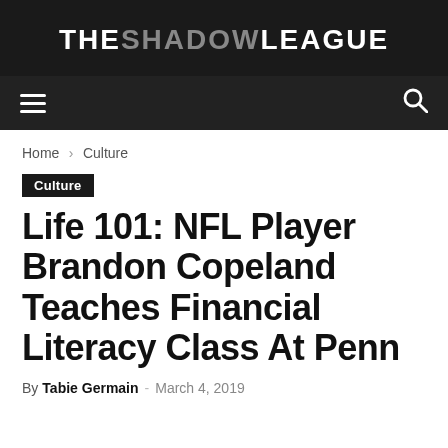THE SHADOW LEAGUE
Home › Culture
Culture
Life 101: NFL Player Brandon Copeland Teaches Financial Literacy Class At Penn
By Tabie Germain - March 4, 2019